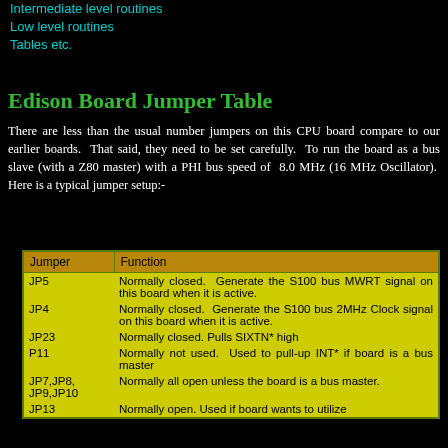Intermediate level routines
Low level routines
Tables etc.
Edison Board Jumper Table
There are less than the usual number jumpers on this CPU board compare to our earlier boards. That said, they need to be set carefully. To run the board as a bus slave (with a Z80 master) with a PHI bus speed of 8.0 MHz (16 MHz Oscillator). Here is a typical jumper setup:-
| Jumper | Function |
| --- | --- |
| JP5 | Normally closed. Generate the S100 bus MWRT signal on this board when it is active. |
| JP4 | Normally closed. Generate the S100 bus 2MHz Clock signal on this board when it is active. |
| JP23 | Normally closed. Pulls SIXTN* high |
| P11 | Normally not used. Used to pull-up INT* if board is a bus master |
| JP7,JP8, JP9,JP10 | Normally all open unless the board is a bus master. |
| JP13 | Normally open. Used if board wants to utilize the S100 bus Phantom Line... |